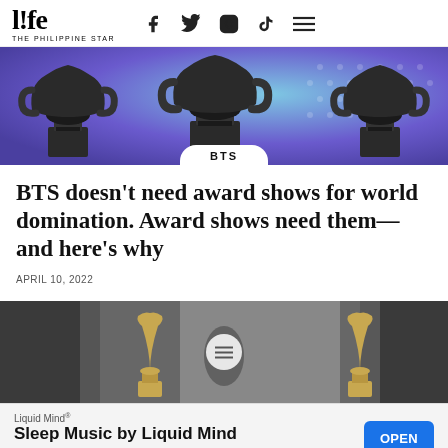life THE PHILIPPINE STAR
[Figure (photo): Three Grammy-style trophies displayed against a blue and purple dotted background]
BTS
BTS doesn’t need award shows for world domination. Award shows need them—and here’s why
APRIL 10, 2022
[Figure (photo): Grammy statuettes on display on a dark stage backdrop]
Liquid Mind® Sleep Music by Liquid Mind   OPEN